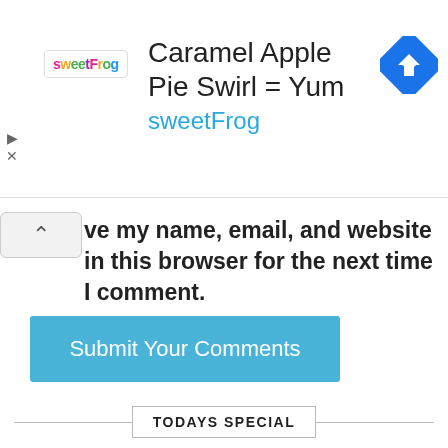[Figure (screenshot): SweetFrog advertisement banner with logo, title 'Caramel Apple Pie Swirl = Yum', subtitle 'sweetFrog', and a blue diamond navigation icon on the right. Play and close controls on the left.]
ve my name, email, and website in this browser for the next time I comment.
[Figure (other): Submit Your Comments button — blue rectangular button]
TODAYS SPECIAL
[Figure (screenshot): Loopmasters advertisement: logo, 'Premium sounds covering all genres', EXPLORE SOUNDS button, Privacy & Cookies Policy bar, scroll-to-top button]